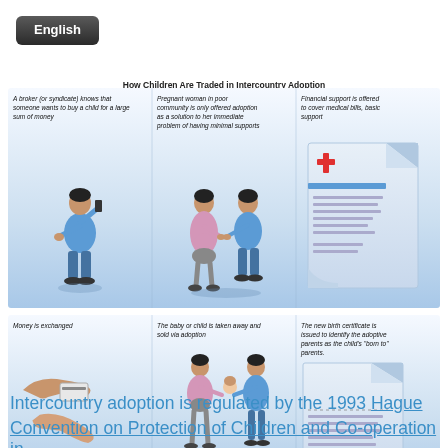[Figure (other): English language button/badge in dark rounded rectangle]
How Children Are Traded in Intercountry Adoption
[Figure (infographic): Three-panel infographic showing: 1) A broker (or syndicate) knows that someone wants to buy a child for a large sum of money - illustration of man on phone; 2) Pregnant woman in poor community is only offered adoption as a solution to her immediate problem of having minimal supports - illustration of pregnant woman and man talking; 3) Financial support is offered to cover medical bills, basic support - illustration of document with red cross]
[Figure (infographic): Three-panel infographic showing: 1) Money is exchanged - illustration of hands exchanging money/card; 2) The baby or child is taken away and sold via adoption - illustration of woman handing baby to man; 3) The new birth certificate is issued to identify the adoptive parents as the child's 'born to' parents - illustration of document being signed]
Intercountry adoption is regulated by the 1993 Hague Convention on Protection of Children and Co-operation in...